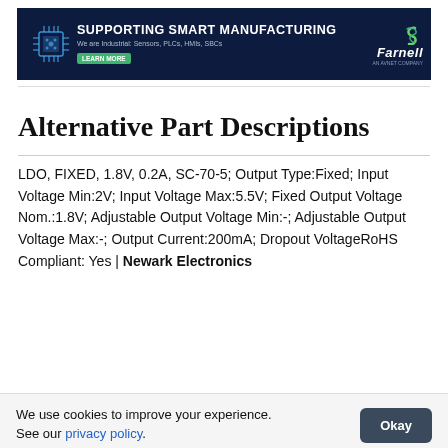[Figure (other): Farnell banner ad: Supporting Smart Manufacturing, We are Industrial: Sensors, PLCs, HMIs, SBCs. Learn More button. Farnell logo on dark blue background with circuit board chip image.]
Alternative Part Descriptions
LDO, FIXED, 1.8V, 0.2A, SC-70-5; Output Type:Fixed; Input Voltage Min:2V; Input Voltage Max:5.5V; Fixed Output Voltage Nom.:1.8V; Adjustable Output Voltage Min:-; Adjustable Output Voltage Max:-; Output Current:200mA; Dropout VoltageRoHS Compliant: Yes | Newark Electronics
We use cookies to improve your experience. See our privacy policy.